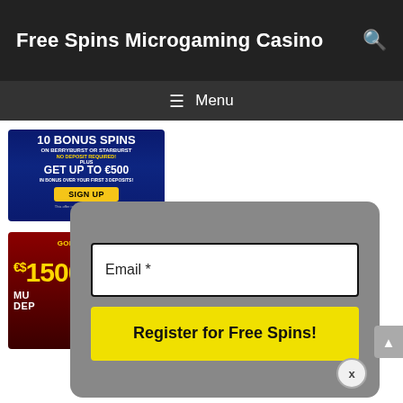Free Spins Microgaming Casino
[Figure (screenshot): Navigation menu bar with hamburger icon and Menu text on dark background]
[Figure (illustration): Casino ad banner: 10 BONUS SPINS ON BERRYBURST OR STARBURST NO DEPOSIT REQUIRED PLUS GET UP TO €500 IN BONUS OVER YOUR FIRST 3 DEPOSITS SIGN UP]
[Figure (illustration): Casino ad banner: Golden Tiger Casino logo, €$1500, MULTI DEPOSIT]
[Figure (screenshot): Modal popup with email input field and Register for Free Spins yellow button, with close X button]